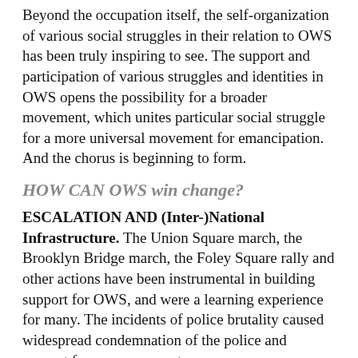Beyond the occupation itself, the self-organization of various social struggles in their relation to OWS has been truly inspiring to see. The support and participation of various struggles and identities in OWS opens the possibility for a broader movement, which unites particular social struggle for a more universal movement for emancipation. And the chorus is beginning to form.
HOW CAN OWS win change?
ESCALATION AND (Inter-)National Infrastructure. The Union Square march, the Brooklyn Bridge march, the Foley Square rally and other actions have been instrumental in building support for OWS, and were a learning experience for many. The incidents of police brutality caused widespread condemnation of the police and support for our movement.
The next step now is moving from protest to resistance--in other words, using civil disobedience and individual fiscal withdrawal to disrupt the